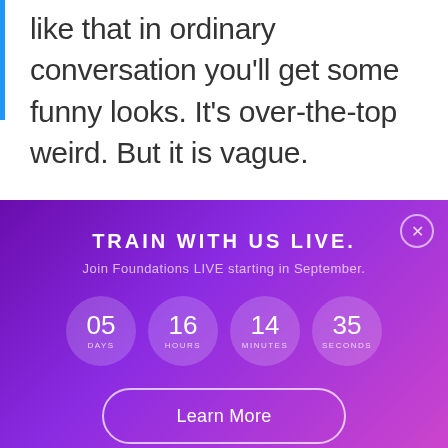like that in ordinary conversation you'll get some funny looks. It's over-the-top weird.  But it is vague.
It causes the listener to attach meaning to what you say.
The purpose of vague language, in Ericksonian
[Figure (infographic): Promotional banner with purple gradient background showing 'TRAIN WITH US LIVE.' heading, subtitle 'Join Foundations LIVE starting in September.', a countdown timer showing 05 days, 16 hours, 14 minutes, 35 seconds in circular displays, a 'Learn More' button, and a close (X) button in the top right corner.]